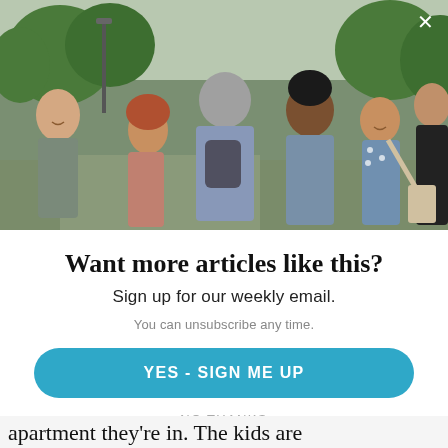[Figure (photo): Group of six people in casual outdoor setting, gathered in a park or campus area with trees and a lamppost. They appear to be socializing or networking. One person has their back to the camera wearing a gray jacket with a messenger bag.]
Want more articles like this?
Sign up for our weekly email.
You can unsubscribe any time.
YES - SIGN ME UP
NO THANKS
apartment they're in. The kids are